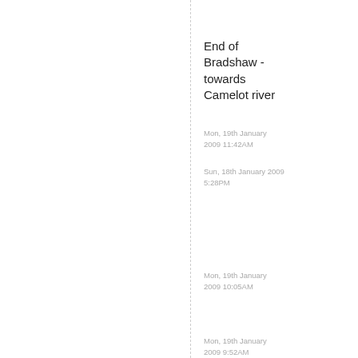End of Bradshaw - towards Camelot river
Mon, 19th January 2009 11:42AM
Sun, 18th January 2009 5:28PM
Mon, 19th January 2009 10:05AM
Mon, 19th January 2009 9:52AM